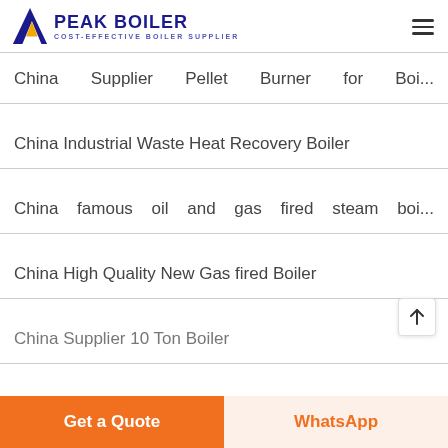PEAK BOILER - COST-EFFECTIVE BOILER SUPPLIER
China Supplier Pellet Burner for Boi...
China Industrial Waste Heat Recovery Boiler
China famous oil and gas fired steam boi...
China High Quality New Gas fired Boiler
China Supplier 10 Ton Boiler
Get a Quote
WhatsApp